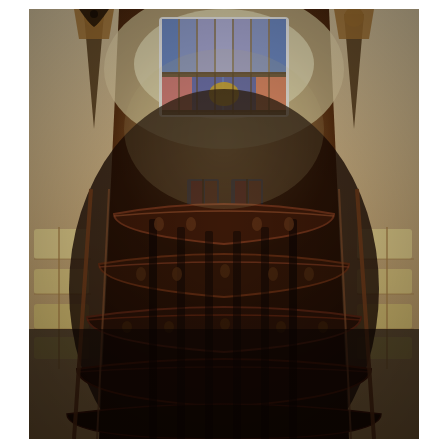[Figure (photo): Interior architectural photograph taken looking up or down a grand spiral staircase in an ornate historic building. The image shows multiple curved balcony levels made of dark wood, with decorative carved railings and ornamental details. At the top of the image, a large stained glass window with colorful panels (blue, red, gold) provides illumination. Natural light also enters from tall windows on the left and right sides. The overall atmosphere is dark and dramatic, with warm amber tones in the woodwork contrasting with the colorful stained glass above.]